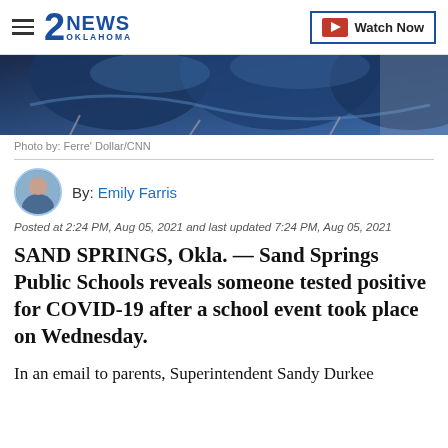2NEWS OKLAHOMA | Watch Now
[Figure (photo): Close-up of blue school chairs, partially cropped at top of page]
Photo by: Ferre' Dollar/CNN
By: Emily Farris
Posted at 2:24 PM, Aug 05, 2021 and last updated 7:24 PM, Aug 05, 2021
SAND SPRINGS, Okla. — Sand Springs Public Schools reveals someone tested positive for COVID-19 after a school event took place on Wednesday.
In an email to parents, Superintendent Sandy Durkee